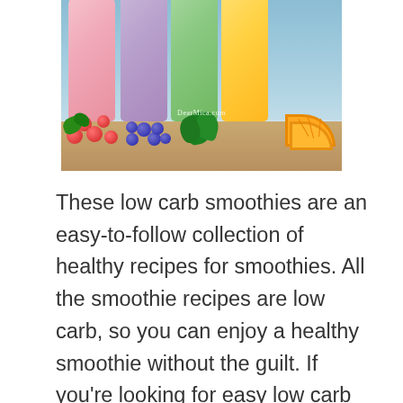[Figure (photo): Four colorful smoothie bottles (pink, purple, green, yellow) with straws, surrounded by raspberries, blueberries, kale, and orange slices on a wooden surface. Watermark reads DearMica.com]
These low carb smoothies are an easy-to-follow collection of healthy recipes for smoothies. All the smoothie recipes are low carb, so you can enjoy a healthy smoothie without the guilt. If you're looking for easy low carb smoothies, this list of keto smoothies is for you! 1. Keto